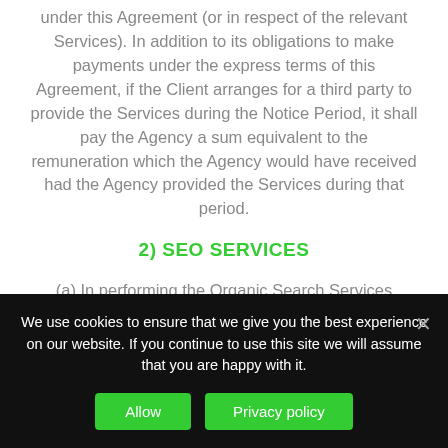under this Agreement (or in respect of the relevant Services). In addition to its obligations to make payments under the express terms of this Agreement, if the Client arranges for a third party to provide the Services during the Notice Period, it shall pay the Agency a sum equivalent to the remuneration which the Agency would have received had the Agency provided the Services during that period.
2) SEO SERVICES
(a) In performing the Organic Search Services (OSO), the Agency shall develop a plan intended to increase the visibility of the Client's Website(s) and improve the
We use cookies to ensure that we give you the best experience on our website. If you continue to use this site we will assume that you are happy with it.